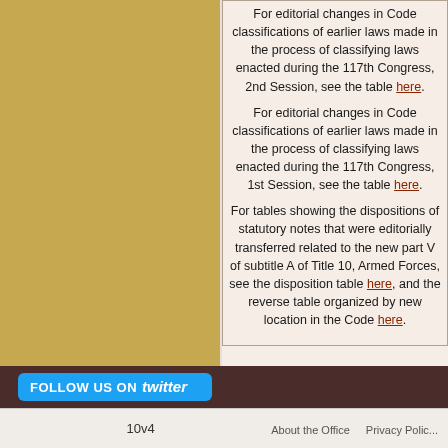For editorial changes in Code classifications of earlier laws made in the process of classifying laws enacted during the 117th Congress, 2nd Session, see the table here. For editorial changes in Code classifications of earlier laws made in the process of classifying laws enacted during the 117th Congress, 1st Session, see the table here.
For tables showing the dispositions of statutory notes that were editorially transferred related to the new part V of subtitle A of Title 10, Armed Forces, see the disposition table here, and the reverse table organized by new location in the Code here.
[Figure (other): Follow us on Twitter button - cyan/blue button with white text 'FOLLOW US ON' and Twitter bird logo on dark brown background bar]
10v4   About the Office   Privacy Policy